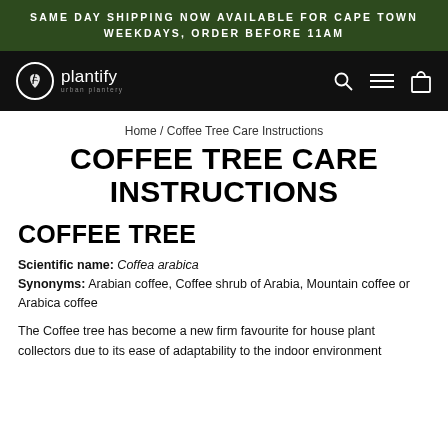SAME DAY SHIPPING NOW AVAILABLE FOR CAPE TOWN WEEKDAYS, ORDER BEFORE 11AM
[Figure (logo): Plantify urban plantery logo in white on black navbar with navigation icons]
Home / Coffee Tree Care Instructions
COFFEE TREE CARE INSTRUCTIONS
COFFEE TREE
Scientific name: Coffea arabica
Synonyms: Arabian coffee, Coffee shrub of Arabia, Mountain coffee or Arabica coffee
The Coffee tree has become a new firm favourite for house plant collectors due to its ease of adaptability to the indoor environment